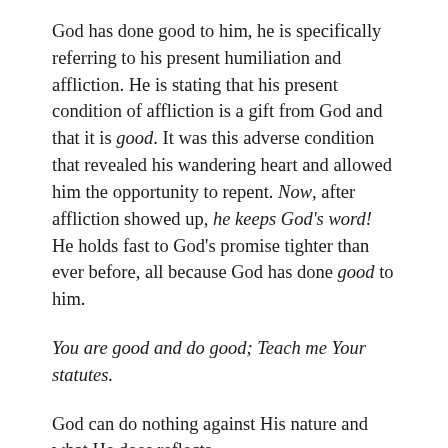God has done good to him, he is specifically referring to his present humiliation and affliction. He is stating that his present condition of affliction is a gift from God and that it is good. It was this adverse condition that revealed his wandering heart and allowed him the opportunity to repent. Now, after affliction showed up, he keeps God's word! He holds fast to God's promise tighter than ever before, all because God has done good to him.
You are good and do good; Teach me Your statutes.
God can do nothing against His nature and what He does reflects